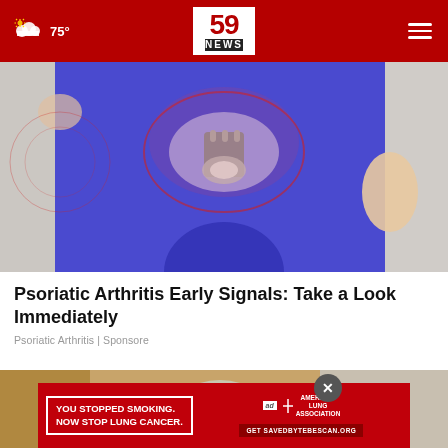75° | 59 NEWS
[Figure (photo): Medical illustration showing hip/pelvis area with a person in blue leggings, with a graphic overlay of joint/pelvis anatomy in red and blue]
Psoriatic Arthritis Early Signals: Take a Look Immediately
Psoriatic Arthritis | Sponsore
[Figure (photo): Close-up photo of a door handle/knob wrapped in aluminum foil]
[Figure (infographic): Red banner advertisement: YOU STOPPED SMOKING. NOW STOP LUNG CANCER. with American Lung Association logo and Get SAVEDBYTEBESCAN.ORG call to action]